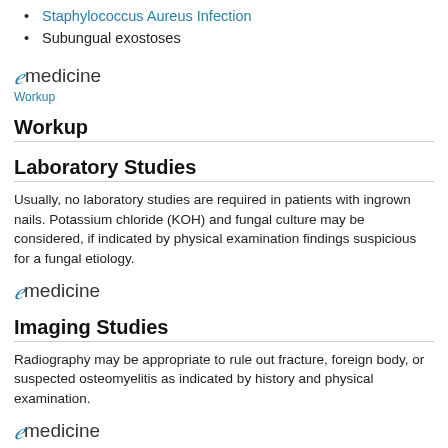Staphylococcus Aureus Infection
Subungual exostoses
[Figure (logo): eMedicine logo with italic 'e' swirl and 'medicine' text, with 'Workup' link below]
Workup
Laboratory Studies
Usually, no laboratory studies are required in patients with ingrown nails. Potassium chloride (KOH) and fungal culture may be considered, if indicated by physical examination findings suspicious for a fungal etiology.
[Figure (logo): eMedicine logo]
Imaging Studies
Radiography may be appropriate to rule out fracture, foreign body, or suspected osteomyelitis as indicated by history and physical examination.
[Figure (logo): eMedicine logo]
Treatment